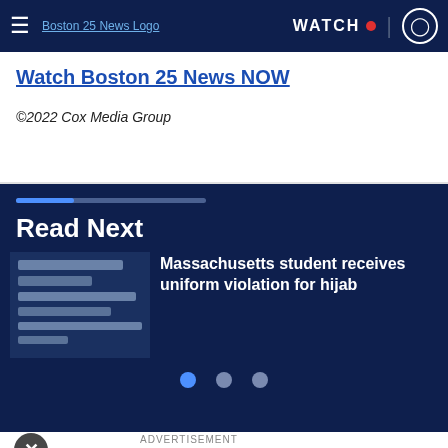Boston 25 News | WATCH
Watch Boston 25 News NOW
©2022 Cox Media Group
Read Next
Massachusetts student receives uniform violation for hijab
ADVERTISEMENT